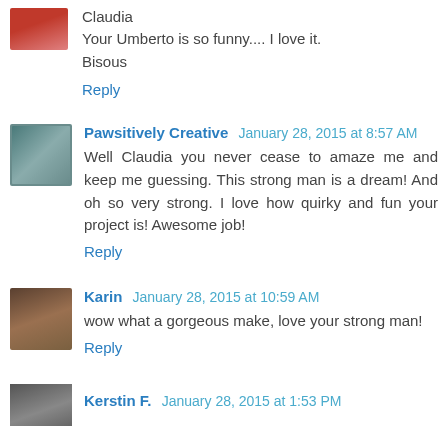Claudia
Your Umberto is so funny.... I love it.
Bisous
Reply
Pawsitively Creative  January 28, 2015 at 8:57 AM
Well Claudia you never cease to amaze me and keep me guessing. This strong man is a dream! And oh so very strong. I love how quirky and fun your project is! Awesome job!
Reply
Karin  January 28, 2015 at 10:59 AM
wow what a gorgeous make, love your strong man!
Reply
Kerstin F.  January 28, 2015 at 1:53 PM